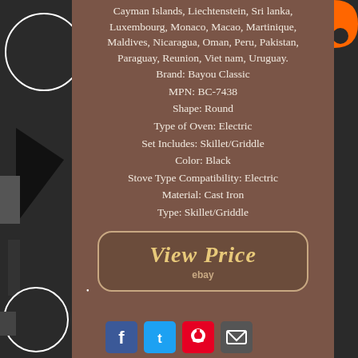Cayman Islands, Liechtenstein, Sri lanka, Luxembourg, Monaco, Macao, Martinique, Maldives, Nicaragua, Oman, Peru, Pakistan, Paraguay, Reunion, Viet nam, Uruguay.
Brand: Bayou Classic
MPN: BC-7438
Shape: Round
Type of Oven: Electric
Set Includes: Skillet/Griddle
Color: Black
Stove Type Compatibility: Electric
Material: Cast Iron
Type: Skillet/Griddle
[Figure (other): View Price button with eBay logo in rounded rectangle frame]
[Figure (other): Social media icons: Facebook, Twitter, Pinterest, Email]